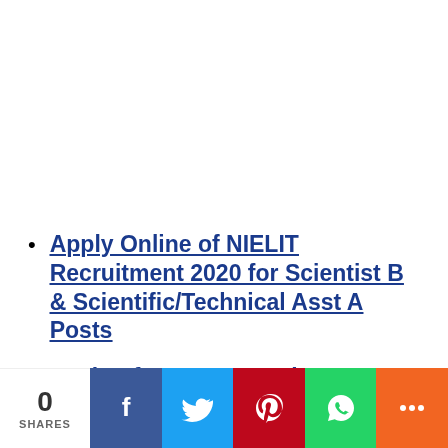Apply Online of NIELIT Recruitment 2020 for Scientist B & Scientific/Technical Asst A Posts
Login of NIELIT Recruitment 2020 for Scientist B &
0 SHARES | Facebook | Twitter | Pinterest | WhatsApp | More